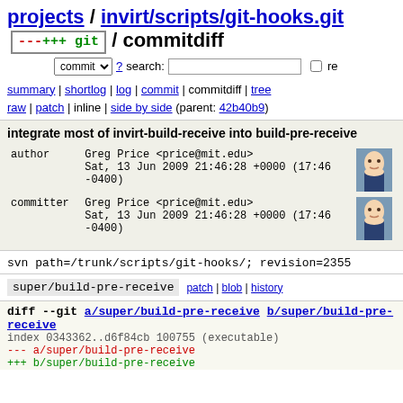projects / invirt/scripts/git-hooks.git / commitdiff
commit search: re
summary | shortlog | log | commit | commitdiff | tree
raw | patch | inline | side by side (parent: 42b40b9)
integrate most of invirt-build-receive into build-pre-receive
author Greg Price <price@mit.edu>
Sat, 13 Jun 2009 21:46:28 +0000 (17:46 -0400)
committer Greg Price <price@mit.edu>
Sat, 13 Jun 2009 21:46:28 +0000 (17:46 -0400)
svn path=/trunk/scripts/git-hooks/; revision=2355
super/build-pre-receive  patch | blob | history
diff --git a/super/build-pre-receive b/super/build-pre-receive
index 0343362..d6f84cb 100755 (executable)
--- a/super/build-pre-receive
+++ b/super/build-pre-receive